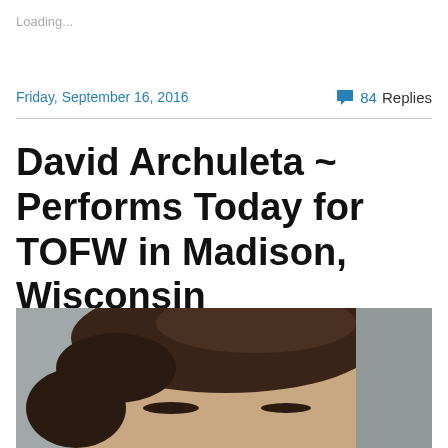Loading...
Friday, September 16, 2016
84 Replies
David Archuleta ~ Performs Today for TOFW in Madison, Wisconsin
[Figure (photo): Close-up photo of a young man's face, cropped to show forehead and top of head with dark brown hair, against a blurred grey background.]